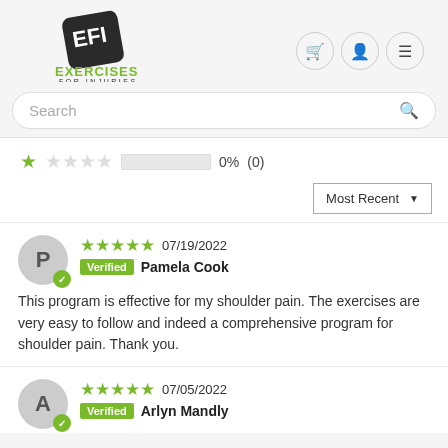[Figure (logo): Exercises for Injuries logo — stylized 'EFI' shield icon in dark gray/black with green text 'EXERCISES FOR INJURIES' below]
[Figure (screenshot): Navigation icons: shopping cart, user profile, and hamburger menu, each in a circular button with gray border]
Search
★☆☆☆☆  0%  (0)
Most Recent ▼
★★★★★ 07/19/2022
Verified  Pamela Cook
This program is effective for my shoulder pain. The exercises are very easy to follow and indeed a comprehensive program for shoulder pain. Thank you.
★★★★★ 07/05/2022
Verified  Arlyn Mandly